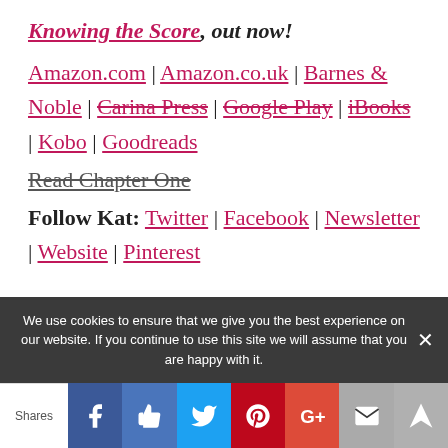Knowing the Score, out now!
Amazon.com | Amazon.co.uk | Barnes & Noble | Carina Press | Google Play | iBooks | Kobo | Goodreads
Read Chapter One
Follow Kat: Twitter | Facebook | Newsletter | Website | Pinterest
We use cookies to ensure that we give you the best experience on our website. If you continue to use this site we will assume that you are happy with it.
Shares